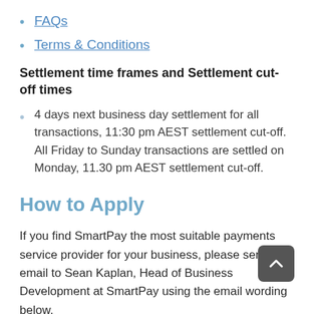FAQs
Terms & Conditions
Settlement time frames and Settlement cut-off times
4 days next business day settlement for all transactions, 11:30 pm AEST settlement cut-off. All Friday to Sunday transactions are settled on Monday, 11.30 pm AEST settlement cut-off.
How to Apply
If you find SmartPay the most suitable payments service provider for your business, please send an email to Sean Kaplan, Head of Business Development at SmartPay using the email wording below.